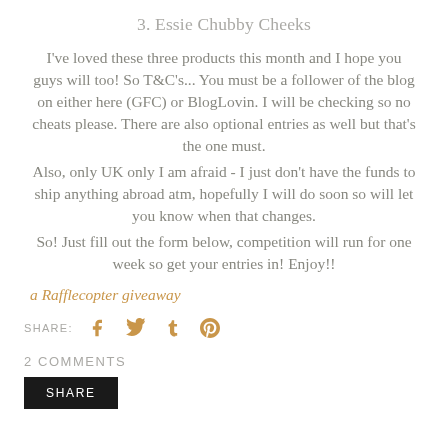3. Essie Chubby Cheeks
I've loved these three products this month and I hope you guys will too! So T&C's... You must be a follower of the blog on either here (GFC) or BlogLovin. I will be checking so no cheats please. There are also optional entries as well but that's the one must.
Also, only UK only I am afraid - I just don't have the funds to ship anything abroad atm, hopefully I will do soon so will let you know when that changes.
So! Just fill out the form below, competition will run for one week so get your entries in! Enjoy!!
a Rafflecopter giveaway
SHARE: [social icons]
2 COMMENTS
SHARE